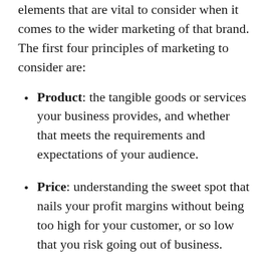elements that are vital to consider when it comes to the wider marketing of that brand. The first four principles of marketing to consider are:
Product: the tangible goods or services your business provides, and whether that meets the requirements and expectations of your audience.
Price: understanding the sweet spot that nails your profit margins without being too high for your customer, or so low that you risk going out of business.
Place: the ways (and places) in which